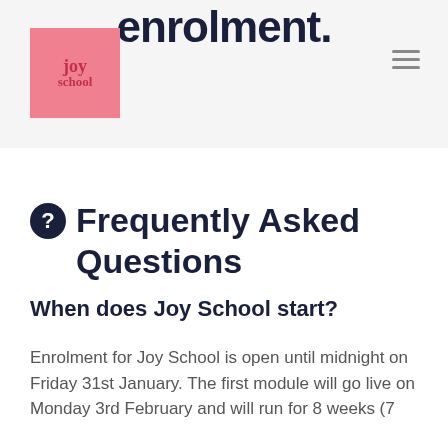enrolment.
[Figure (logo): Joy School pink square logo with text 'joy school' in dark red serif font]
❓ Frequently Asked Questions
When does Joy School start?
Enrolment for Joy School is open until midnight on Friday 31st January. The first module will go live on Monday 3rd February and will run for 8 weeks (7